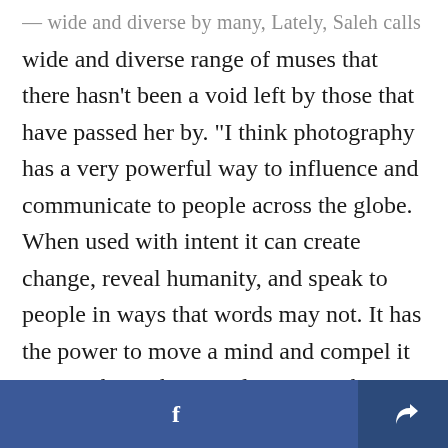— wide and diverse range of muses that there hasn't been a void left by those that have passed her by. "I think photography has a very powerful way to influence and communicate to people across the globe. When used with intent it can create change, reveal humanity, and speak to people in ways that words may not. It has the power to move a mind and compel it to act. I hope that one day my work can carry this weight for someone," Saleh said.
| additionally...